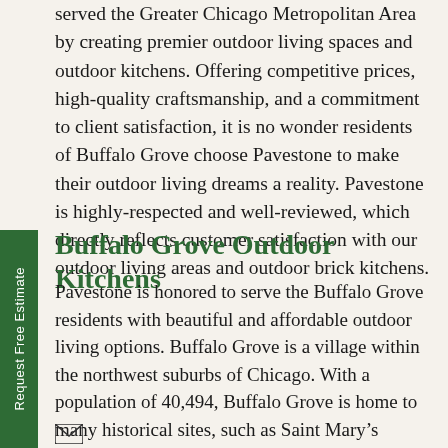served the Greater Chicago Metropolitan Area by creating premier outdoor living spaces and outdoor kitchens. Offering competitive prices, high-quality craftsmanship, and a commitment to client satisfaction, it is no wonder residents of Buffalo Grove choose Pavestone to make their outdoor living dreams a reality. Pavestone is highly-respected and well-reviewed, which directly reflects customer satisfaction with our outdoor living areas and outdoor brick kitchens.
Buffalo Grove Outdoor Kitchens
Pavestone is honored to serve the Buffalo Grove residents with beautiful and affordable outdoor living options. Buffalo Grove is a village within the northwest suburbs of Chicago. With a population of 40,494, Buffalo Grove is home to many historical sites, such as Saint Mary's Church, and hosts multiple summer festivals to bring the community together. Pavestone has an “A+” Rating with the Better Business Bureau and has received the “Super Vice Award” from Angie’s List. We serve Buffalo Grove